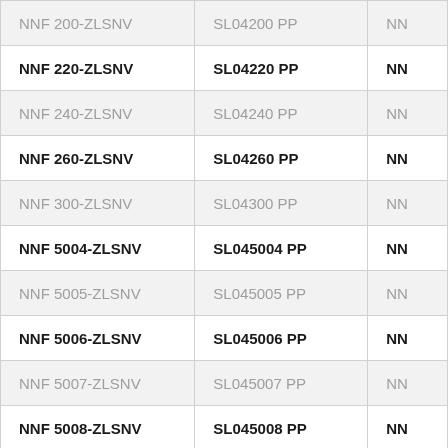| NNF 200-ZLSNV | SL04200 PP | NN |
| NNF 220-ZLSNV | SL04220 PP | NN |
| NNF 240-ZLSNV | SL04240 PP | NN |
| NNF 260-ZLSNV | SL04260 PP | NN |
| NNF 300-ZLSNV | SL04300 PP | NN |
| NNF 5004-ZLSNV | SL045004 PP | NN |
| NNF 5005-ZLSNV | SL045005 PP | NN |
| NNF 5006-ZLSNV | SL045006 PP | NN |
| NNF 5007-ZLSNV | SL045007 PP | NN |
| NNF 5008-ZLSNV | SL045008 PP | NN |